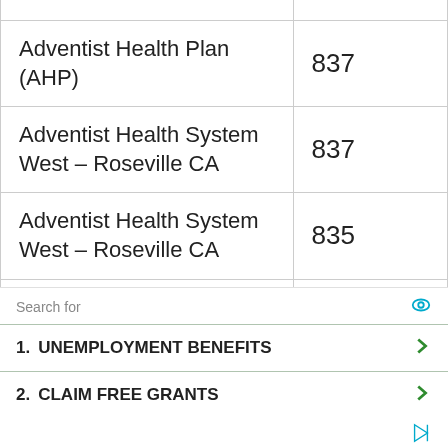| Adventist Health Plan (AHP) | 837 |
| Adventist Health System West – Roseville CA | 837 |
| Adventist Health System West – Roseville CA | 835 |
| Adventist White Memorial – Crown City Medical Group | 837 |
| Adventist White Memorial – Southland Gabriel Valley | 837 |